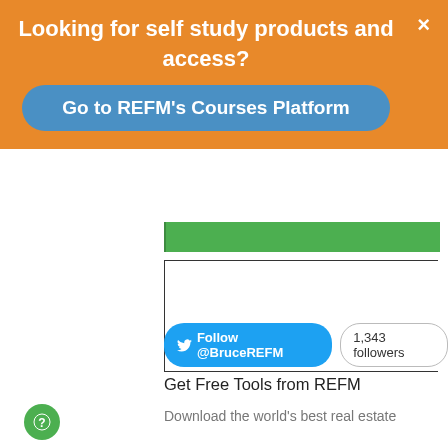Looking for self study products and access?
Go to REFM's Courses Platform
[Figure (screenshot): Orange popup banner with 'Looking for self study products and access?' title and 'Go to REFM's Courses Platform' button in blue pill shape, with an X close button]
[Figure (screenshot): Green bar partially visible, followed by white content box with black border]
Follow @BruceREFM
1,343 followers
Get Free Tools from REFM
Download the world's best real estate